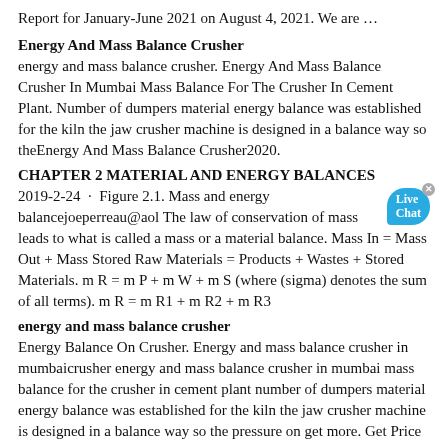Report for January-June 2021 on August 4, 2021. We are …
Energy And Mass Balance Crusher
energy and mass balance crusher. Energy And Mass Balance Crusher In Mumbai Mass Balance For The Crusher In Cement Plant. Number of dumpers material energy balance was established for the kiln the jaw crusher machine is designed in a balance way so theEnergy And Mass Balance Crusher2020.
CHAPTER 2 MATERIAL AND ENERGY BALANCES
2019-2-24 · Figure 2.1. Mass and energy balancejoeperreau@aol The law of conservation of mass leads to what is called a mass or a material balance. Mass In = Mass Out + Mass Stored Raw Materials = Products + Wastes + Stored Materials. m R = m P + m W + m S (where (sigma) denotes the sum of all terms). m R = m R1 + m R2 + m R3
energy and mass balance crusher
Energy Balance On Crusher. Energy and mass balance crusher in mumbaicrusher energy and mass balance crusher in mumbai mass balance for the crusher in cement plant number of dumpers material energy balance was established for the kiln the jaw crusher machine is designed in a balance way so the pressure on get more. Get Price
Felda IFFCO Sdn Bhd
2018-6-23 · Crusher 2.3.1.2 Book and Claim from